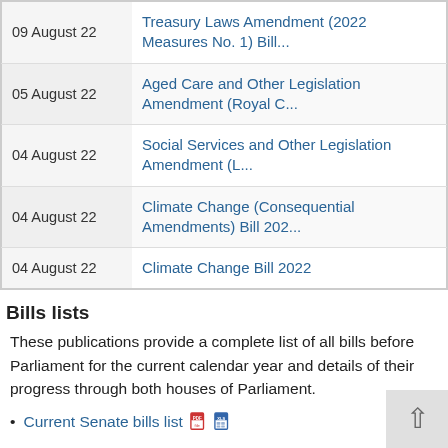| Date | Bill |
| --- | --- |
| 09 August 22 | Treasury Laws Amendment (2022 Measures No. 1) Bill… |
| 05 August 22 | Aged Care and Other Legislation Amendment (Royal C… |
| 04 August 22 | Social Services and Other Legislation Amendment (L… |
| 04 August 22 | Climate Change (Consequential Amendments) Bill 202… |
| 04 August 22 | Climate Change Bill 2022 |
Bills lists
These publications provide a complete list of all bills before Parliament for the current calendar year and details of their progress through both houses of Parliament.
Current Senate bills list